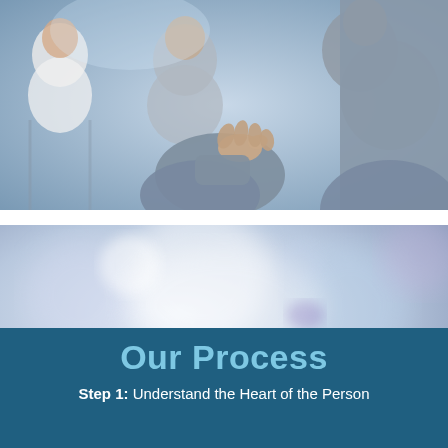[Figure (photo): Group of people sitting in a seminar or meeting setting; a person in the foreground is gesturing with their hand as if asking a question or making a point; others visible in blurred background.]
[Figure (photo): Blurred audience clapping or applauding at an event; hands of people are visible clapping, with a soft bokeh background in muted tones of blue, purple and white.]
Our Process
Step 1: Understand the Heart of the Person